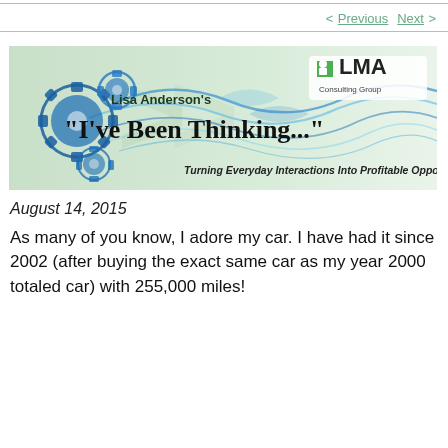< Previous   Next >
[Figure (illustration): LMA Consulting Group banner header for Lisa Anderson's 'I've Been Thinking...' newsletter. Features blue mechanical gears, flowing blue wave lines on a green-to-white gradient background, LMA Consulting Group logo in upper right, tagline: Turning Everyday Interactions Into Profitable Opportunities]
August 14, 2015
As many of you know, I adore my car. I have had it since 2002 (after buying the exact same car as my year 2000 totaled car) with 255,000 miles!